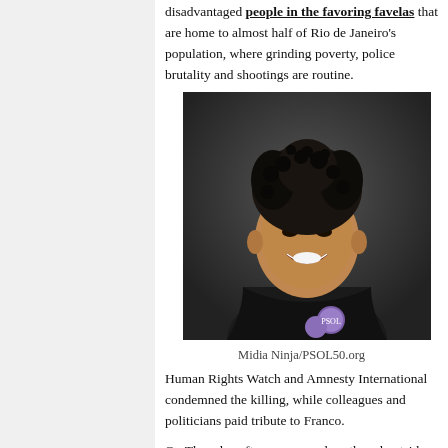disadvantaged people in the favoring favelas that are home to almost half of Rio de Janeiro's population, where grinding poverty, police brutality and shootings are routine.
[Figure (photo): Portrait photo of a smiling woman with natural hair wearing a black top, against a dark background.]
Midia Ninja/PSOL50.org
Human Rights Watch and Amnesty International condemned the killing, while colleagues and politicians paid tribute to Franco.
On Thursday afternoon crowds gathered outside Rio de Janeiro's council shouting "not one step backwards" ahead of a ceremony in honour of Franco in which her coffin was carried inside.
The spontaneous demonstration brought together union members, feminists and residents of the city's poorer communities.